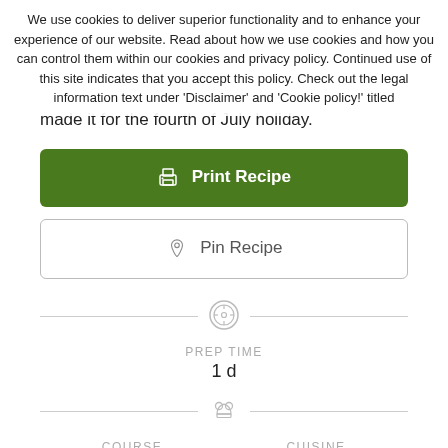We use cookies to deliver superior functionality and to enhance your experience of our website. Read about how we use cookies and how you can control them within our cookies and privacy policy. Continued use of this site indicates that you accept this policy. Check out the legal information text under 'Disclaimer' and 'Cookie policy!' titled
made it for the fourth of July holiday.
Print Recipe
Pin Recipe
PREP TIME
1 d
COURSE
Dessert
CUISINE
American